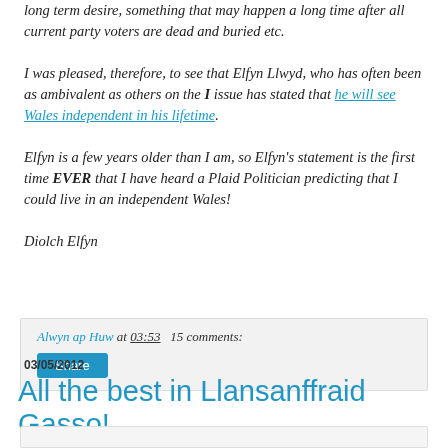long term desire, something that may happen a long time after all current party voters are dead and buried etc.

I was pleased, therefore, to see that Elfyn Llwyd, who has often been as ambivalent as others on the I issue has stated that he will see Wales independent in his lifetime.

Elfyn is a few years older than I am, so Elfyn's statement is the first time EVER that I have heard a Plaid Politician predicting that I could live in an independent Wales!

Diolch Elfyn
Alwyn ap Huw at 03:53   15 comments:
Share
03/05/2012
All the best in Llansanffraid Gasso!
GRAHAM REES